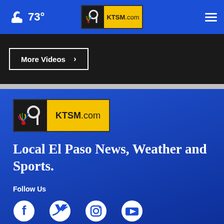73° KTSM.com
More Videos ›
[Figure (logo): KTSM.com logo with NBC peacock icon on dark background and yellow banner]
Local El Paso News, Weather and Sports.
Follow Us